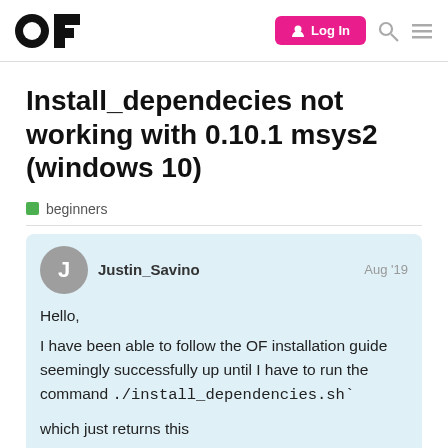OF forum navigation bar with logo, Log In button, search and menu icons
Install_dependecies not working with 0.10.1 msys2 (windows 10)
beginners
Justin_Savino  Aug '19
Hello,
I have been able to follow the OF installation guide seemingly successfully up until I have to run the command ./install_dependencies.sh`
which just returns this
>